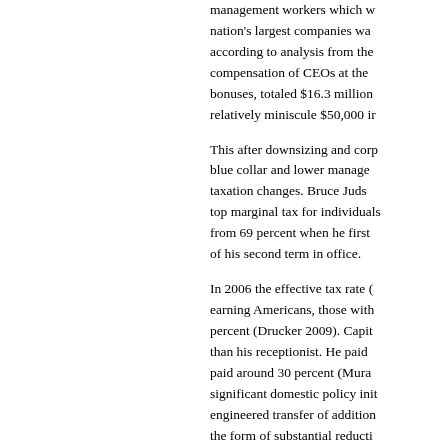management workers which was at the nation's largest companies was at, according to analysis from the compensation of CEOs at the bonuses, totaled $16.3 million relatively miniscule $50,000 in
This after downsizing and corp blue collar and lower manage taxation changes. Bruce Juds top marginal tax for individuals from 69 percent when he first of his second term in office.
In 2006 the effective tax rate ( earning Americans, those with percent (Drucker 2009). Capit than his receptionist. He paid paid around 30 percent (Mura significant domestic policy init engineered transfer of addition the form of substantial reducti further impelled by other socia
A cornerstone of fascism is th workers organization. These p